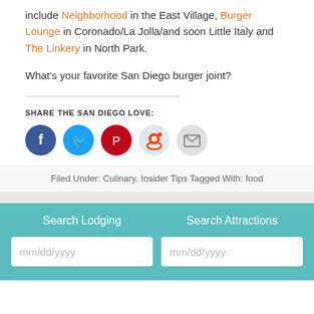include Neighborhood in the East Village, Burger Lounge in Coronado/La Jolla/and soon Little Italy and The Linkery in North Park.
What's your favorite San Diego burger joint?
SHARE THE SAN DIEGO LOVE:
[Figure (infographic): Row of five social share icon circles: Facebook (blue), Twitter (blue), Pinterest (red), Reddit (light blue), Email (light gray)]
Filed Under: Culinary, Insider Tips Tagged With: food
Search Lodging
Search Attractions
mm/dd/yyyy
mm/dd/yyyy